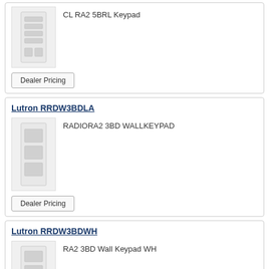[Figure (illustration): CL RA2 5BRL Keypad product image showing a wall keypad with multiple buttons]
CL RA2 5BRL Keypad
Dealer Pricing
Lutron RRDW3BDLA
[Figure (illustration): RADIORA2 3BD WALLKEYPAD product image showing a wall keypad with 3 button rows]
RADIORA2 3BD WALLKEYPAD
Dealer Pricing
Lutron RRDW3BDWH
[Figure (illustration): RA2 3BD Wall Keypad WH product image showing a white wall keypad]
RA2 3BD Wall Keypad WH